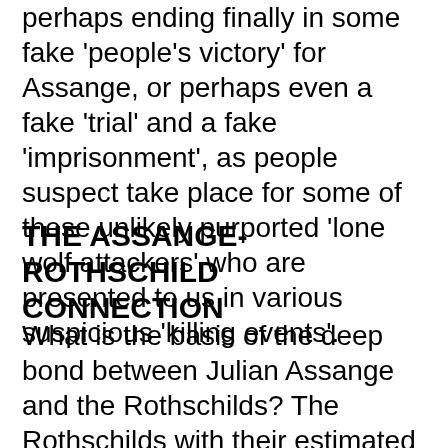perhaps ending finally in some fake 'people's victory' for Assange, or perhaps even a fake 'trial' and a fake 'imprisonment', as people suspect take place for some of these unlikely purported 'lone wolf attackers' who are presented to us in various suspicious 'killing events'.
THE ASSANGE-ROTHSCHILD CONNECTION
What is the basis of the deep bond between Julian Assange and the Rothschilds? The Rothschilds with their estimated 400 billion (at least) fortune, and passion for Israel, naturally have a great interest in media control, taking a direct role on boards supervising leading global media such as